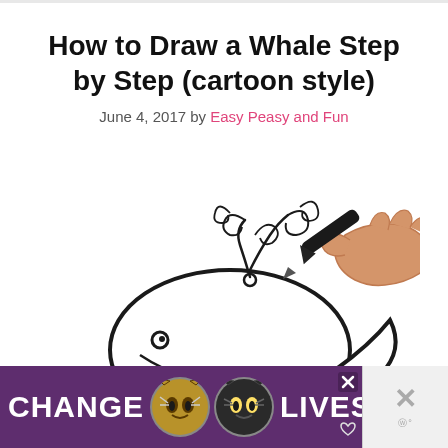How to Draw a Whale Step by Step (cartoon style)
June 4, 2017 by Easy Peasy and Fun
[Figure (illustration): A hand holding a black marker drawing a cartoon whale with decorative swirly water spout on white background]
[Figure (illustration): Advertisement banner with purple background showing 'CHANGE LIVES' text with two cat faces]